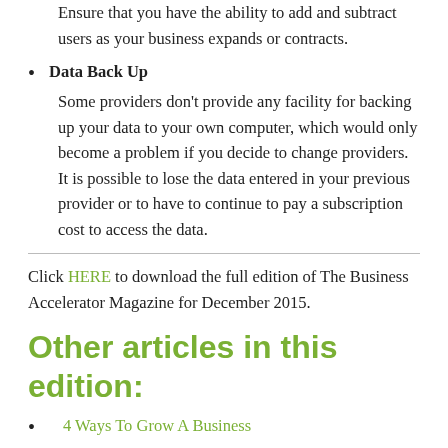Ensure that you have the ability to add and subtract users as your business expands or contracts.
Data Back Up
Some providers don't provide any facility for backing up your data to your own computer, which would only become a problem if you decide to change providers. It is possible to lose the data entered in your previous provider or to have to continue to pay a subscription cost to access the data.
Click HERE to download the full edition of The Business Accelerator Magazine for December 2015.
Other articles in this edition:
4 Ways To Grow A Business